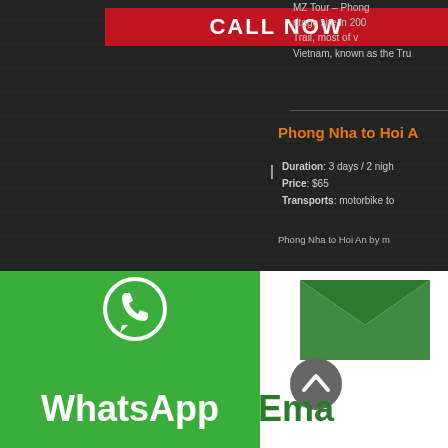CALL NOW
MZ Tour – Phong... heritage site in 200... Trail, most of v... Vietnam, known as the Tru...
Phong Nha to Hoi A
Duration: 3 days / 2 nigh... Price: $65 Transports: motorbike to...
Phong Nha to Hoi An by m...
[Figure (logo): WhatsApp logo - white phone icon in speech bubble on green background]
WhatsApp
[Figure (logo): Email icon - white envelope on dark green, with grey scroll-to-top circle button]
Ema